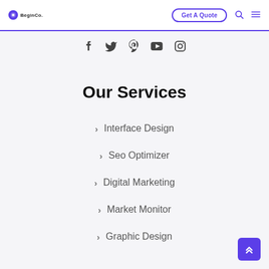BeginCo | Get A Quote
[Figure (infographic): Social media icons row: Facebook, Twitter, Pinterest, YouTube, Instagram]
Our Services
> Interface Design
> Seo Optimizer
> Digital Marketing
> Market Monitor
> Graphic Design